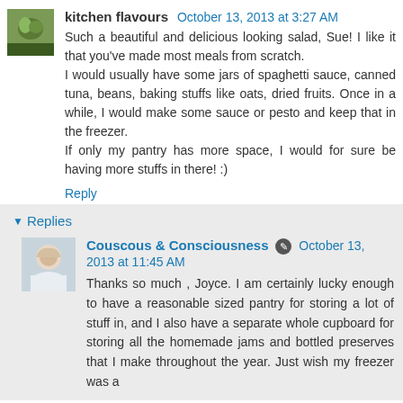[Figure (photo): Small square avatar image with green/nature tones]
kitchen flavours  October 13, 2013 at 3:27 AM
Such a beautiful and delicious looking salad, Sue! I like it that you've made most meals from scratch.
I would usually have some jars of spaghetti sauce, canned tuna, beans, baking stuffs like oats, dried fruits. Once in a while, I would make some sauce or pesto and keep that in the freezer.
If only my pantry has more space, I would for sure be having more stuffs in there! :)
Reply
Replies
[Figure (photo): Avatar photo of a woman with light hair in white clothing]
Couscous & Consciousness  October 13, 2013 at 11:45 AM
Thanks so much , Joyce. I am certainly lucky enough to have a reasonable sized pantry for storing a lot of stuff in, and I also have a separate whole cupboard for storing all the homemade jams and bottled preserves that I make throughout the year. Just wish my freezer was a